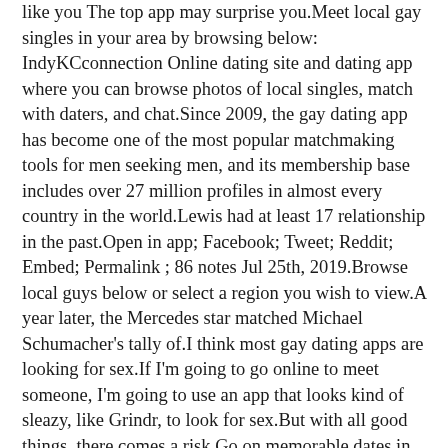like you The top app may surprise you.Meet local gay singles in your area by browsing below: IndyKCconnection Online dating site and dating app where you can browse photos of local singles, match with daters, and chat.Since 2009, the gay dating app has become one of the most popular matchmaking tools for men seeking men, and its membership base includes over 27 million profiles in almost every country in the world.Lewis had at least 17 relationship in the past.Open in app; Facebook; Tweet; Reddit; Embed; Permalink ; 86 notes Jul 25th, 2019.Browse local guys below or select a region you wish to view.A year later, the Mercedes star matched Michael Schumacher's tally of.I think most gay dating apps are looking for sex.If I'm going to go online to meet someone, I'm going to use an app that looks kind of sleazy, like Grindr, to look for sex.But with all good things, there comes a risk.Go on memorable dates in hamilton.If you're single and from Hamilton Ontario, all you need to do to get started is the following: Register your Hamilton dating profile for free.Start using our website, all you need to do is create an account, add some details.Chat and meet up with interesting people for free, or upgrade to Grindr XTRA or Grindr Unlimited for more features, more fun, and more chances to.If you're looking for a fast hookup or a wild night out, BeNaughty is the best place to search.Don't let love find you, it may take ages The dating app was reportedly removed from Apple's store on Jan.Start meeting singles in Hamilton today with our free online personals and free Hamilton